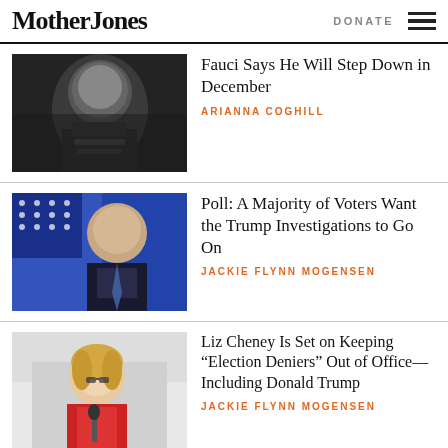Mother Jones | DONATE
[Figure (photo): Photo of Dr. Anthony Fauci at a hearing]
Fauci Says He Will Step Down in December
ARIANNA COGHILL
[Figure (photo): Photo of Donald Trump in front of an American flag]
Poll: A Majority of Voters Want the Trump Investigations to Go On
JACKIE FLYNN MOGENSEN
[Figure (photo): Photo of Liz Cheney speaking at a podium]
Liz Cheney Is Set on Keeping “Election Deniers” Out of Office—Including Donald Trump
JACKIE FLYNN MOGENSEN